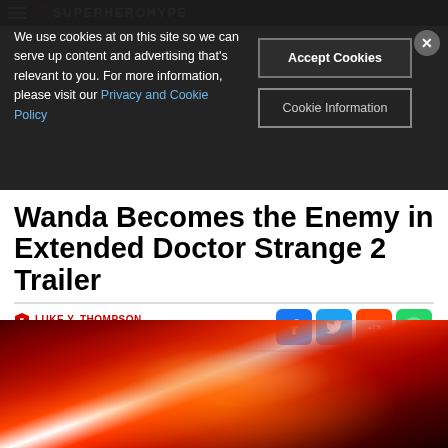SuperHeroHype
We use cookies at on this site so we can serve up content and advertising that's relevant to you. For more information, please visit our Privacy and Cookie Policy
Accept Cookies
Cookie Information
Wanda Becomes the Enemy in Extended Doctor Strange 2 Trailer
LUKE Y. THOMPSON
SUNDAY, FEBRUARY 13, 2022
[Figure (photo): Doctor Strange in the Multiverse of Madness movie poster/promotional image showing Doctor Strange surrounded by shattered mirror fragments with a bright red energy blast at the center]